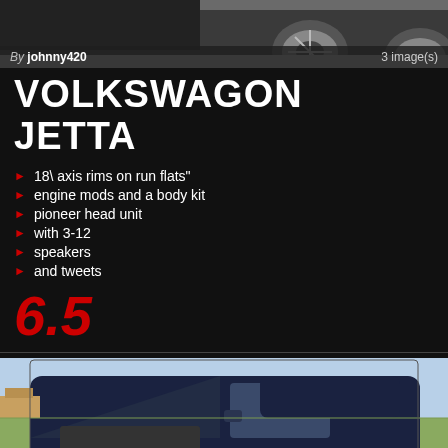[Figure (photo): Top photo of a car with alloy wheel visible, close-up view]
By johnny420   3 image(s)
VOLKSWAGON JETTA
18\ axis rims on run flats"
engine mods and a body kit
pioneer head unit
with 3-12
speakers
and tweets
6.5
[Figure (photo): Bottom photo of a dark blue Volkswagen Jetta with hood open, parked on grass with suburban background]